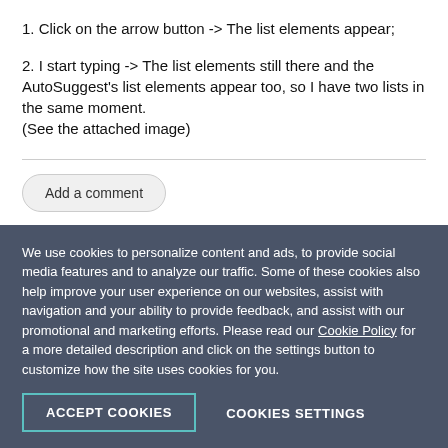1. Click on the arrow button -> The list elements appear;
2. I start typing -> The list elements still there and the AutoSuggest's list elements appear too, so I have two lists in the same moment.
(See the attached image)
Add a comment
We use cookies to personalize content and ads, to provide social media features and to analyze our traffic. Some of these cookies also help improve your user experience on our websites, assist with navigation and your ability to provide feedback, and assist with our promotional and marketing efforts. Please read our Cookie Policy for a more detailed description and click on the settings button to customize how the site uses cookies for you.
ACCEPT COOKIES
COOKIES SETTINGS